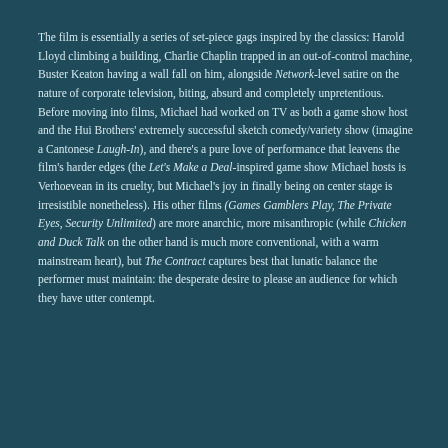The film is essentially a series of set-piece gags inspired by the classics: Harold Lloyd climbing a building, Charlie Chaplin trapped in an out-of-control machine, Buster Keaton having a wall fall on him, alongside Network-level satire on the nature of corporate television, biting, absurd and completely unpretentious. Before moving into films, Michael had worked on TV as both a game show host and the Hui Brothers' extremely successful sketch comedy/variety show (imagine a Cantonese Laugh-In), and there's a pure love of performance that leavens the film's harder edges (the Let's Make a Deal-inspired game show Michael hosts is Verhoevean in its cruelty, but Michael's joy in finally being on center stage is irresistible nonetheless). His other films (Games Gamblers Play, The Private Eyes, Security Unlimited) are more anarchic, more misanthropic (while Chicken and Duck Talk on the other hand is much more conventional, with a warm mainstream heart), but The Contract captures best that lunatic balance the performer must maintain: the desperate desire to please an audience for which they have utter contempt.